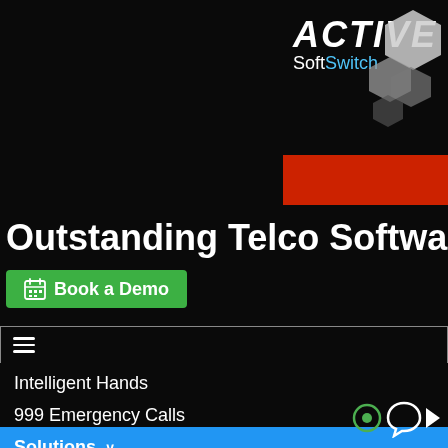[Figure (logo): ACTIVE SoftSwitch logo with hexagon shapes in upper right, white ACTIVE text italic bold, SoftSwitch in white/blue, with hexagonal geometric decorations]
Outstanding Telco Software
Book a Demo
Intelligent Hands
999 Emergency Calls
Website Set-Up
Solutions
Termination and Origination
Business IP Centrex
Business SIP Trunking
Callshop